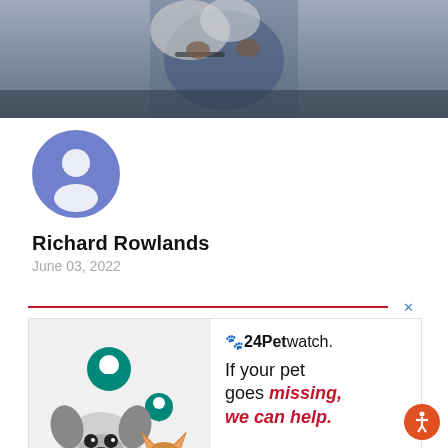[Figure (photo): Hero banner photo showing a person in a denim jacket holding a dog with a collar]
[Figure (illustration): Circular avatar/profile icon with a generic person silhouette on a blue/purple background]
Richard Rowlands
June 03, 2022
[Figure (illustration): 24Petwatch advertisement banner featuring a French Bulldog and a kitten with GPS location pins, text: If your pet goes missing, we can help. Protect your pet button.]